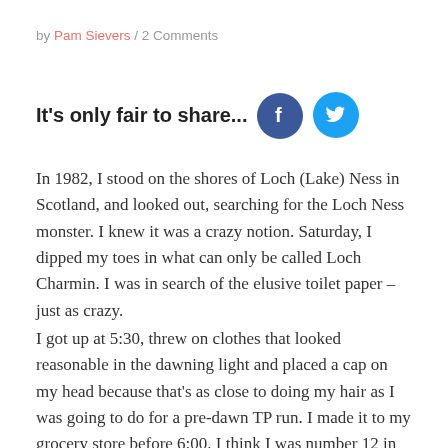by Pam Sievers / 2 Comments
It's only fair to share...
[Figure (logo): Facebook circular icon (dark blue) and Twitter circular icon (light blue) as social sharing buttons]
In 1982, I stood on the shores of Loch (Lake) Ness in Scotland, and looked out, searching for the Loch Ness monster. I knew it was a crazy notion. Saturday, I dipped my toes in what can only be called Loch Charmin. I was in search of the elusive toilet paper – just as crazy.
I got up at 5:30, threw on clothes that looked reasonable in the dawning light and placed a cap on my head because that's as close to doing my hair as I was going to do for a pre-dawn TP run. I made it to my grocery store before 6:00. I think I was number 12 in